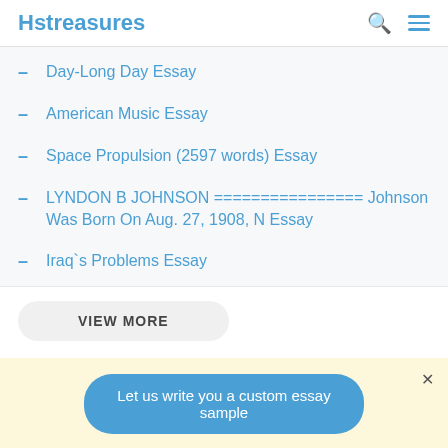Hstreasures
Day-Long Day Essay
American Music Essay
Space Propulsion (2597 words) Essay
LYNDON B JOHNSON ================ Johnson Was Born On Aug. 27, 1908, N Essay
Iraq`s Problems Essay
VIEW MORE
Let us write you a custom essay sample